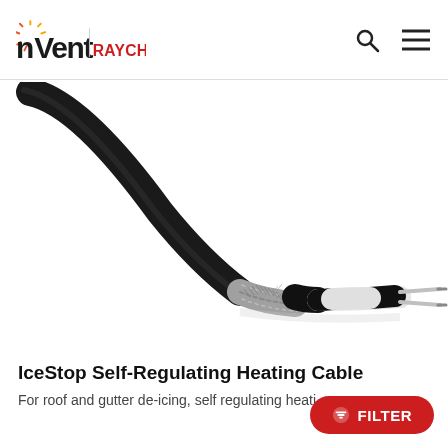[Figure (logo): nVent RAYCHEM logo with orange sunburst graphic and red RAYCHEM text]
[Figure (photo): Self-regulating heating cable product photo: black cable curving from top-left, transitioning to metallic braid, then white/black striped section with two exposed wire ends at right]
IceStop Self-Regulating Heating Cable
For roof and gutter de-icing, self regulating heati…